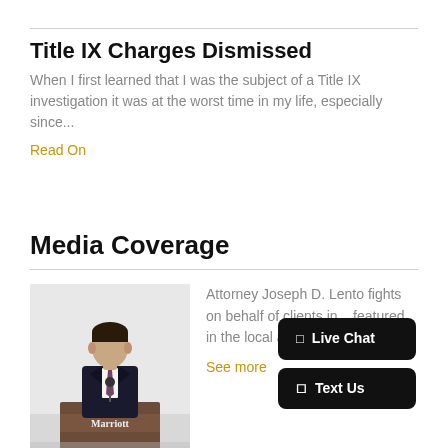Title IX Charges Dismissed
When I first learned that I was the subject of a Title IX investigation it was at the worst time in my life, especially since...
Read On
Media Coverage
[Figure (photo): Attorney Joseph D. Lento speaking at a podium labeled Marriott, wearing a dark suit and purple tie]
Attorney Joseph D. Lento fights on behalf of clients in... featured in the local and national media.
See more